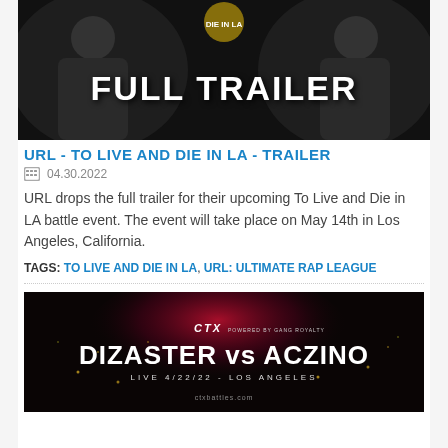[Figure (photo): Full Trailer promotional image for URL - To Live and Die in LA event, with two rappers facing each other and large white text reading FULL TRAILER on dark background]
URL - TO LIVE AND DIE IN LA - TRAILER
04.30.2022
URL drops the full trailer for their upcoming To Live and Die in LA battle event. The event will take place on May 14th in Los Angeles, California.
TAGS: TO LIVE AND DIE IN LA, URL: ULTIMATE RAP LEAGUE
[Figure (photo): CTX Battles promotional image for Dizaster vs Aczino, dark background with fireworks/sparks, text reads CTX POWERED BY GANG ROYALTY, DIZASTER vs ACZINO, LIVE 4/22/22 - LOS ANGELES, ctxbattles.com]